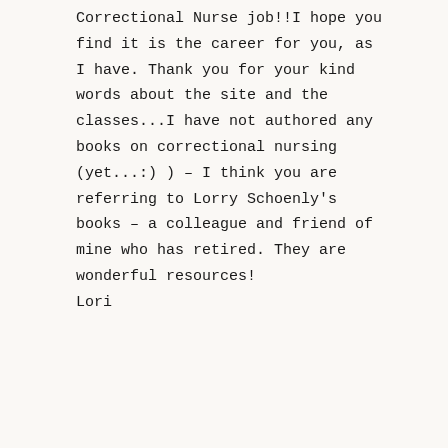Correctional Nurse job!!I hope you find it is the career for you, as I have. Thank you for your kind words about the site and the classes...I have not authored any books on correctional nursing (yet...:) ) – I think you are referring to Lorry Schoenly's books – a colleague and friend of mine who has retired. They are wonderful resources!
Lori
Reply